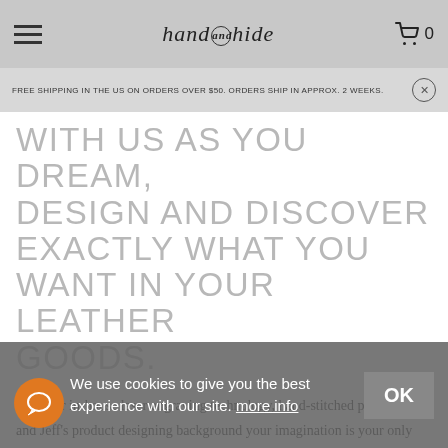hand and hide — navigation bar with hamburger menu and cart icon (0 items)
FREE SHIPPING IN THE US ON ORDERS OVER $50. ORDERS SHIP IN APPROX. 2 WEEKS.
WITH US AS YOU DREAM, DESIGN AND DISCOVER EXACTLY WHAT YOU WANT IN YOUR LEATHER GOODS.
With our in-house laser engraving technology, hand-stitched precision, and Jeff's product designing background your imagination is your only limit.
We create leather phone wallet cases, as well as leather tablet cases and travel accessories all made with high-quality full-grain leathers.
Call or email now to get your custom leather
We use cookies to give you the best experience with our site. more info